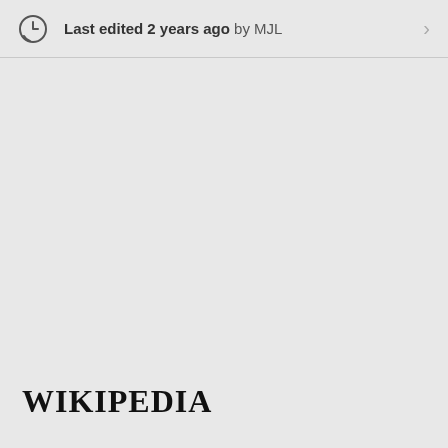Last edited 2 years ago by MJL
[Figure (logo): Wikipedia wordmark logo in serif font at bottom left]
Wikipedia